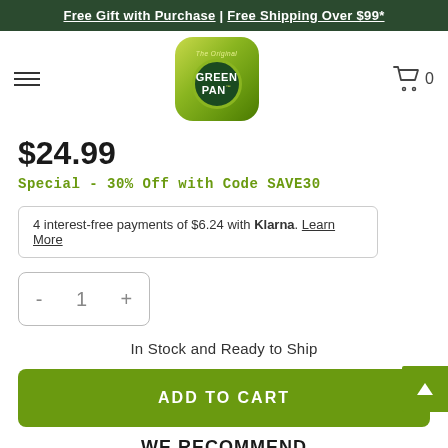Free Gift with Purchase | Free Shipping Over $99*
[Figure (logo): GreenPan logo - green rounded square with dark green circle containing GreenPan text]
$24.99
Special - 30% Off with Code SAVE30
4 interest-free payments of $6.24 with Klarna. Learn More
- 1 +
In Stock and Ready to Ship
ADD TO CART
WE RECOMMEND